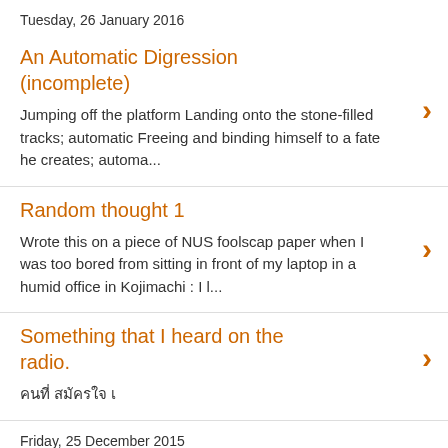Tuesday, 26 January 2016
An Automatic Digression (incomplete)
Jumping off the platform Landing onto the stone-filled tracks; automatic Freeing and binding himself to a fate he creates; automa...
Random thought 1
Wrote this on a piece of NUS foolscap paper when I was too bored from sitting in front of my laptop in a humid office in Kojimachi : I l...
Something that I heard on the radio.
คนที่ สมัครใจ เ
Friday, 25 December 2015
My First WWOOFing Experience (Nagano, Japan)